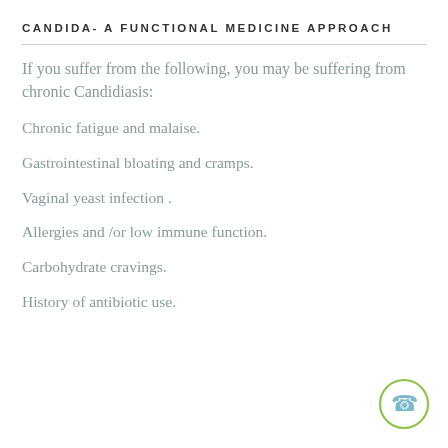CANDIDA- A FUNCTIONAL MEDICINE APPROACH
If you suffer from the following, you may be suffering from chronic Candidiasis:
Chronic fatigue and malaise.
Gastrointestinal bloating and cramps.
Vaginal yeast infection .
Allergies and /or low immune function.
Carbohydrate cravings.
History of antibiotic use.
[Figure (illustration): Phone icon — a circular icon with a green border and a light blue telephone handset symbol inside]